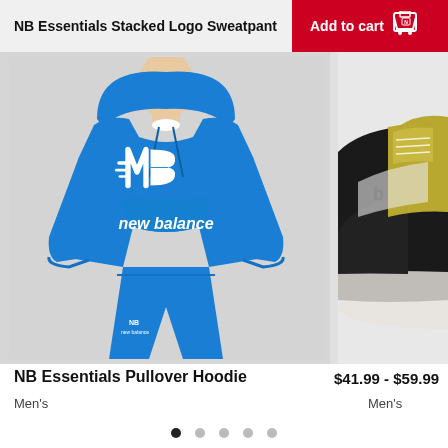NB Essentials Stacked Logo Sweatpant
Add to cart
[Figure (photo): Man wearing a blue New Balance NB Essentials pullover hoodie and matching blue sweatpants with NB logo on the leg, standing against a light grey background.]
[Figure (photo): Partial view of a New Balance 574 sneaker in black, yellow/olive, and grey colorway, showing the side and sole.]
NB Essentials Pullover Hoodie   $41.99 - $59.99  574
Men's
Men's